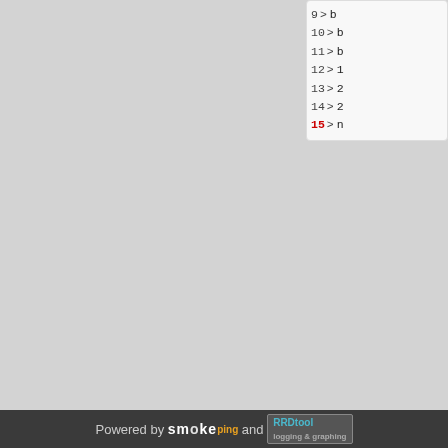[Figure (screenshot): Gray background main content area (left side of page, mostly empty)]
Code listing fragment showing lines 9-15 with line 15 in red, and lines 3-15 with line 15 in red. Lines show numbered code with > arrows and partial code content.
Powered by smokeping and RRDtool